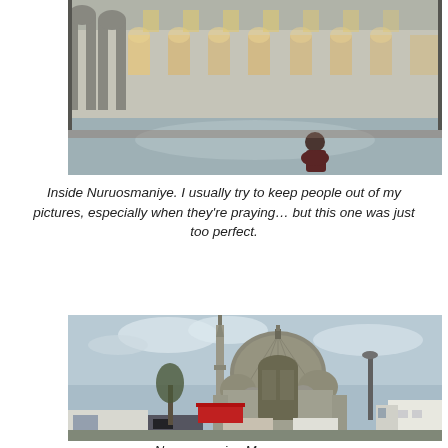[Figure (photo): Interior of Nuruosmaniye mosque showing ornate arched colonnades, tall windows with light streaming in, marble floors, and a single person sitting/praying in the center of the vast hall.]
Inside Nuruosmaniye. I usually try to keep people out of my pictures, especially when they're praying… but this one was just too perfect.
[Figure (photo): Exterior view of Nuruosmaniye Mosque from street level showing the large dome and tall minaret against a cloudy sky, with cars, a white van, and a large truck visible in the foreground.]
Nuruosmaniye Mosque